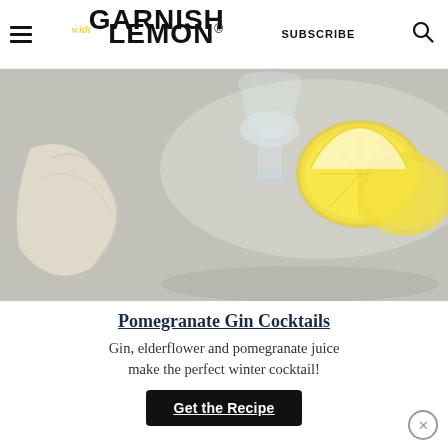GARNISH with LEMON® | SUBSCRIBE | [search icon]
[Figure (photo): A glass with ice and a lemon wedge garnish on a grey stone surface, with cheesecloth or gauze fabric nearby and lemon slices in the background.]
Pomegranate Gin Cocktails
Gin, elderflower and pomegranate juice make the perfect winter cocktail!
Get the Recipe
MORE PINK COCKTAILS